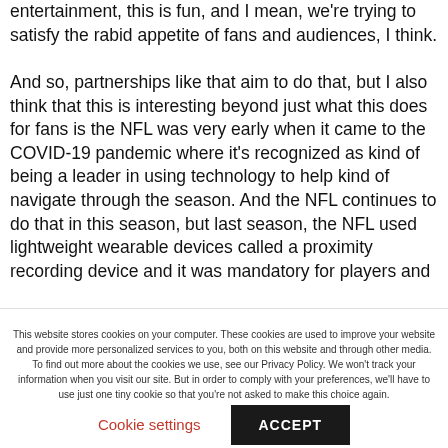entertainment, this is fun, and I mean, we're trying to satisfy the rabid appetite of fans and audiences, I think. And so, partnerships like that aim to do that, but I also think that this is interesting beyond just what this does for fans is the NFL was very early when it came to the COVID-19 pandemic where it's recognized as kind of being a leader in using technology to help kind of navigate through the season. And the NFL continues to do that in this season, but last season, the NFL used lightweight wearable devices called a proximity recording device and it was mandatory for players and
This website stores cookies on your computer. These cookies are used to improve your website and provide more personalized services to you, both on this website and through other media. To find out more about the cookies we use, see our Privacy Policy. We won't track your information when you visit our site. But in order to comply with your preferences, we'll have to use just one tiny cookie so that you're not asked to make this choice again.
Cookie settings | ACCEPT